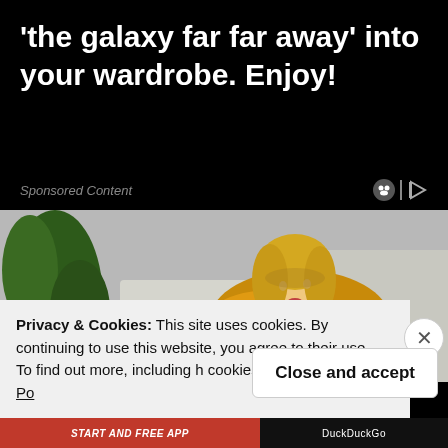'the galaxy far far away' into your wardrobe.  Enjoy!
Sponsored Content
[Figure (photo): Woman with blonde hair wearing a yellow/mustard knit sweater, looking down, with plants and a sofa visible in the background]
Privacy & Cookies: This site uses cookies. By continuing to use this website, you agree to their use.
To find out more, including h cookies, see here: Cookie Po
Close and accept